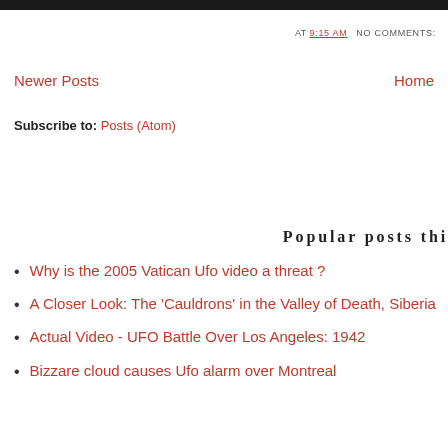AT 9:15 AM   NO COMMENTS:
Newer Posts   Home
Subscribe to: Posts (Atom)
Popular posts thi
Why is the 2005 Vatican Ufo video a threat ?
A Closer Look: The 'Cauldrons' in the Valley of Death, Siberia
Actual Video - UFO Battle Over Los Angeles: 1942
Bizzare cloud causes Ufo alarm over Montreal